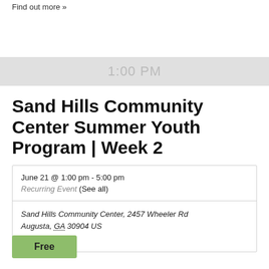Find out more »
1:00 PM
Sand Hills Community Center Summer Youth Program | Week 2
June 21 @ 1:00 pm - 5:00 pm
Recurring Event (See all)
Sand Hills Community Center, 2457 Wheeler Rd Augusta, GA 30904 US
+ Google Map
Free